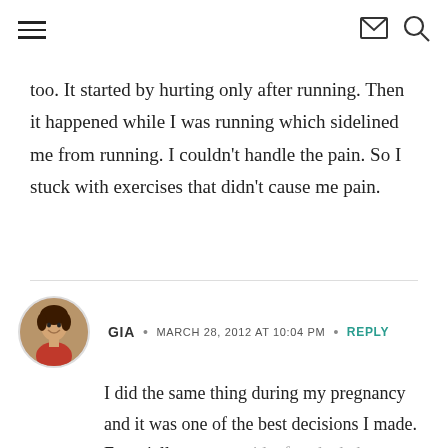[hamburger menu] [envelope icon] [search icon]
too. It started by hurting only after running. Then it happened while I was running which sidelined me from running. I couldn't handle the pain. So I stuck with exercises that didn't cause me pain.
GIA • MARCH 28, 2012 AT 10:04 PM • REPLY
I did the same thing during my pregnancy and it was one of the best decisions I made. Especially, as you said, after the baby (babies – in my case!) is born. I just had a goal to have my clothes fit again – I didn't